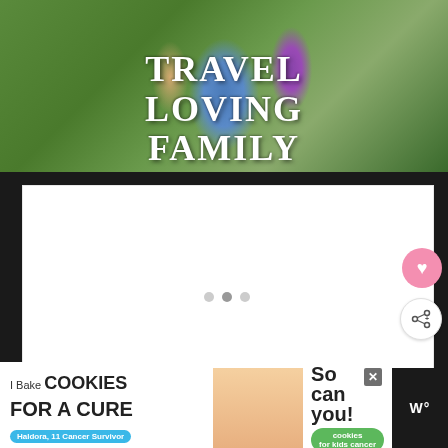[Figure (photo): Family photo outdoors on green grass with text overlay reading TRAVEL LOVING FAMILY in white chalk-style font]
[Figure (screenshot): White slider/carousel area with navigation dots and heart/share action buttons on the right side]
WHAT'S NEXT → Free Halloween...
[Figure (photo): Advertisement banner: I Bake COOKIES For A CURE - Haldora, 11 Cancer Survivor - So can you! - cookies for kids cancer]
W°